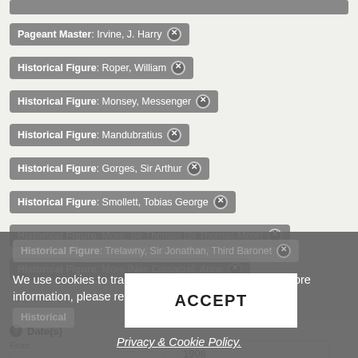Pageant Master: Irvine, J. Harry
Historical Figure: Roper, William
Historical Figure: Monsey, Messenger
Historical Figure: Mandubratius
Historical Figure: Gorges, Sir Arthur
Historical Figure: Smollett, Tobias George
Historical Figure: More, Sir Thomas [St Thomas More]
Historical Figure: More [Née Cresacre], Anne
Historical Figure: Trelawny, Sir Jonathan, Third Baronet
We use cookies to track usage and preferences. For more information, please read our Privacy & Cookie Policy.
ACCEPT
Date(s)
From
1908
1908